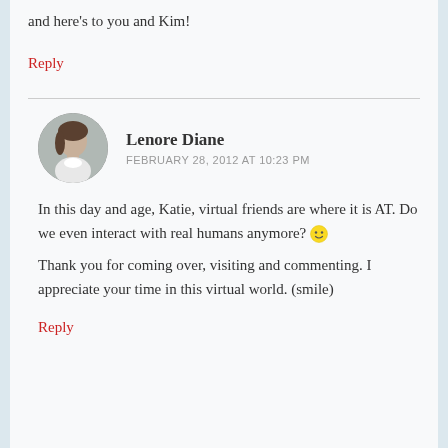and here's to you and Kim!
Reply
Lenore Diane
FEBRUARY 28, 2012 AT 10:23 PM
In this day and age, Katie, virtual friends are where it is AT. Do we even interact with real humans anymore? 🙂
Thank you for coming over, visiting and commenting. I appreciate your time in this virtual world. (smile)
Reply